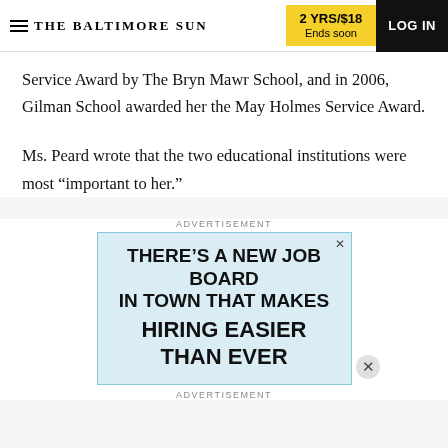THE BALTIMORE SUN | 2 YRS/$18 Ends soon | LOG IN
Service Award by The Bryn Mawr School, and in 2006, Gilman School awarded her the May Holmes Service Award.
Ms. Peard wrote that the two educational institutions were most “important to her.”
ADVERTISEMENT
[Figure (other): Advertisement banner: THERE’S A NEW JOB BOARD IN TOWN THAT MAKES HIRING EASIER THAN EVER]
ADVERTISEMENT